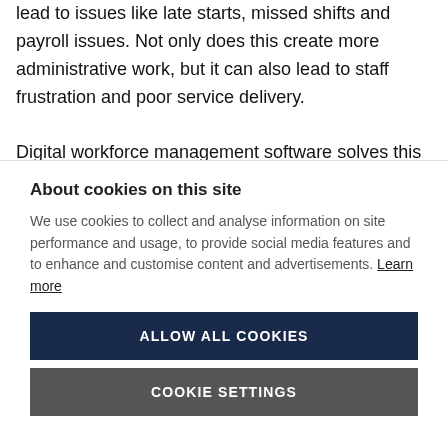lead to issues like late starts, missed shifts and payroll issues. Not only does this create more administrative work, but it can also lead to staff frustration and poor service delivery.

Digital workforce management software solves this
About cookies on this site
We use cookies to collect and analyse information on site performance and usage, to provide social media features and to enhance and customise content and advertisements. Learn more
ALLOW ALL COOKIES
COOKIE SETTINGS